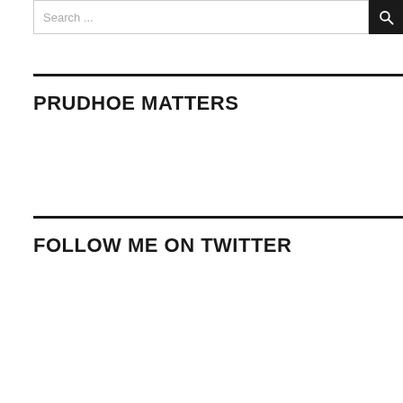Search ...
PRUDHOE MATTERS
FOLLOW ME ON TWITTER